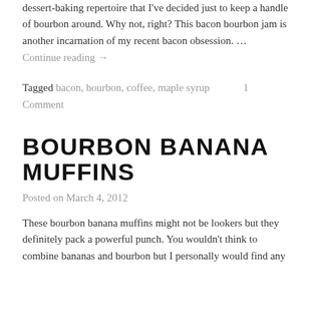dessert-baking repertoire that I've decided just to keep a handle of bourbon around. Why not, right? This bacon bourbon jam is another incarnation of my recent bacon obsession. …
Continue reading →
Tagged bacon, bourbon, coffee, maple syrup    1 Comment
BOURBON BANANA MUFFINS
Posted on March 4, 2012
These bourbon banana muffins might not be lookers but they definitely pack a powerful punch. You wouldn't think to combine bananas and bourbon but I personally would find any